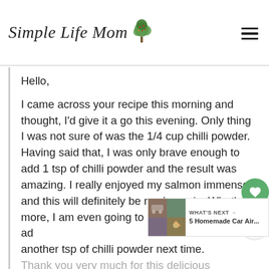Simple Life Mom
Hello,
I came across your recipe this morning and thought, I'd give it a go this evening. Only thing I was not sure of was the 1/4 cup chilli powder. Having said that, I was only brave enough to add 1 tsp of chilli powder and the result was amazing. I really enjoyed my salmon immensely and this will definitely be made again. What's more, I am even going to be adventurous and add another tsp of chilli powder next time. Thank you very much for this delicious